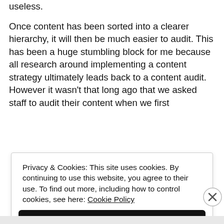identify the hidden content that is illegible or useless.
Once content has been sorted into a clearer hierarchy, it will then be much easier to audit. This has been a huge stumbling block for me because all research around implementing a content strategy ultimately leads back to a content audit. However it wasn't that long ago that we asked staff to audit their content when we first
Privacy & Cookies: This site uses cookies. By continuing to use this website, you agree to their use. To find out more, including how to control cookies, see here: Cookie Policy
Close and accept